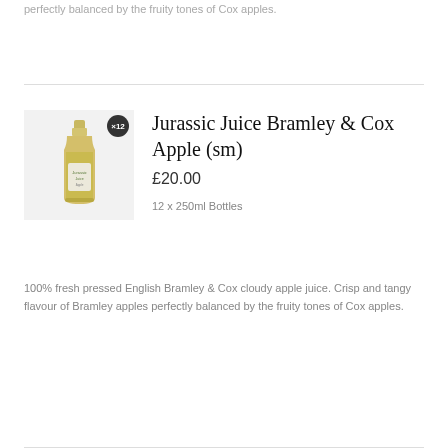perfectly balanced by the fruity tones of Cox apples.
Jurassic Juice Bramley & Cox Apple (sm)
£20.00
12 x 250ml Bottles
[Figure (photo): A small glass bottle of Jurassic Juice Bramley & Cox Apple juice with a yellow-green liquid and a label, with a badge showing '×12']
100% fresh pressed English Bramley & Cox cloudy apple juice. Crisp and tangy flavour of Bramley apples perfectly balanced by the fruity tones of Cox apples.